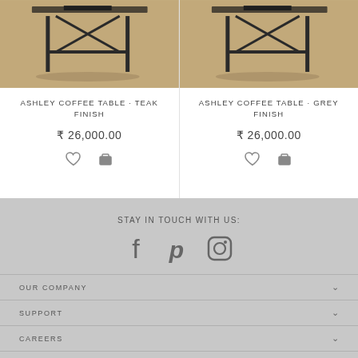[Figure (photo): Ashley Coffee Table Teak Finish product image showing metal frame table on woven rug]
ASHLEY COFFEE TABLE · TEAK FINISH
₹ 26,000.00
[Figure (photo): Ashley Coffee Table Grey Finish product image showing metal frame table on woven rug]
ASHLEY COFFEE TABLE · GREY FINISH
₹ 26,000.00
STAY IN TOUCH WITH US:
[Figure (other): Social media icons: Facebook, Pinterest, Instagram]
OUR COMPANY
SUPPORT
CAREERS